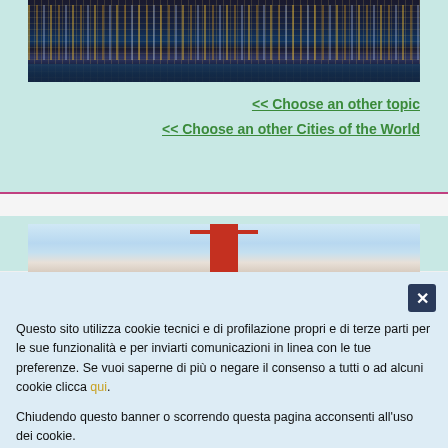[Figure (photo): City skyline at night with illuminated buildings reflected in water]
<< Choose an other topic
<< Choose an other Cities of the World
[Figure (photo): Golden Gate Bridge top with red towers against blue sky]
Questo sito utilizza cookie tecnici e di profilazione propri e di terze parti per le sue funzionalità e per inviarti comunicazioni in linea con le tue preferenze. Se vuoi saperne di più o negare il consenso a tutti o ad alcuni cookie clicca qui.

Chiudendo questo banner o scorrendo questa pagina acconsenti all'uso dei cookie.